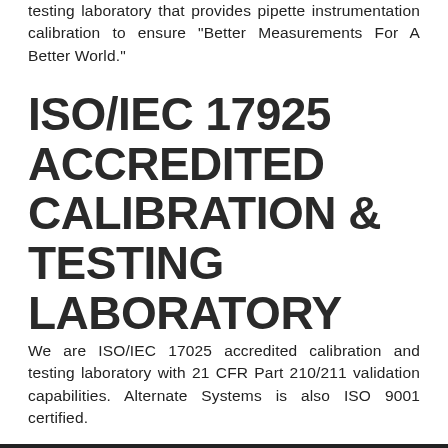testing laboratory that provides pipette instrumentation calibration to ensure "Better Measurements For A Better World."
ISO/IEC 17925 ACCREDITED CALIBRATION & TESTING LABORATORY
We are ISO/IEC 17025 accredited calibration and testing laboratory with 21 CFR Part 210/211 validation capabilities. Alternate Systems is also ISO 9001 certified.